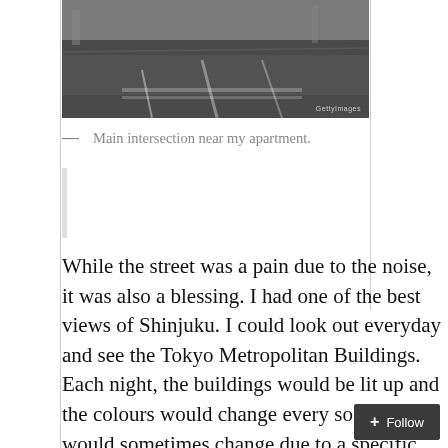[Figure (photo): Black and white aerial or street-level photograph of a main intersection, showing road markings and pavement. Watermark visible in lower right corner.]
— Main intersection near my apartment.
While the street was a pain due to the noise, it was also a blessing.  I had one of the best views of Shinjuku.  I could look out everyday and see the Tokyo Metropolitan Buildings.  Each night, the buildings would be lit up and the colours would change every so often.  It would sometimes change due to a specific event, such as women's day or earth day.  It was very nice.  I would also be able to see the changing skyline as new buildings would be built.  During a few storms, I had the privilege to see lightning and rain falling down as if God was angry at the world.  It was an amazing site, and